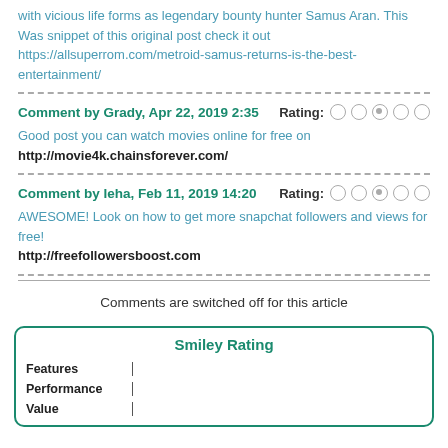with vicious life forms as legendary bounty hunter Samus Aran. This Was snippet of this original post check it out https://allsuperrom.com/metroid-samus-returns-is-the-best-entertainment/
Comment by Grady, Apr 22, 2019 2:35   Rating: (3rd of 5 selected)
Good post you can watch movies online for free on http://movie4k.chainsforever.com/
Comment by Ieha, Feb 11, 2019 14:20   Rating: (3rd of 5 selected)
AWESOME! Look on how to get more snapchat followers and views for free! http://freefollowersboost.com
Comments are switched off for this article
Smiley Rating
Features
Performance
Value